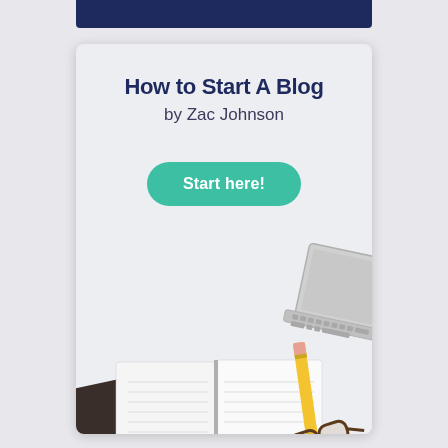How to Start A Blog
by Zac Johnson
Start here!
[Figure (illustration): Desk scene with an open notebook, yellow pencil, glasses, dark notebook/tablet, and laptop on a light gray background]